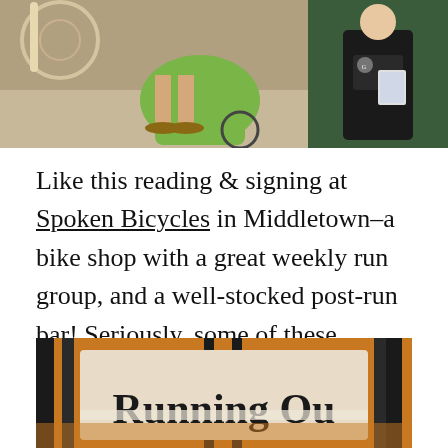[Figure (photo): Two photos side by side: left photo shows a person standing near a bicycle with a green object, right photo shows a person in a black t-shirt holding something]
Like this reading & signing at Spoken Bicycles in Middletown–a bike shop with a great weekly run group, and a well-stocked post-run bar! Seriously, some of these invitations from small run clubs and such are my favorite events–always lots of fun!
[Figure (photo): Photo of a sign/window display showing the text 'Running Out' in large serif lettering on an orange/amber background]